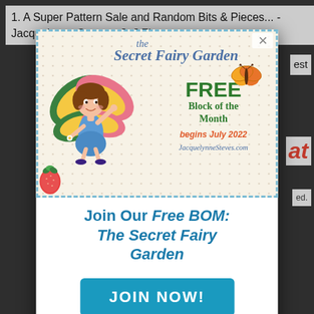1. A Super Pattern Sale and Random Bits & Pieces... - Jacquelynne Steves - [...] First-
[Figure (illustration): Advertisement for 'the Secret Fairy Garden' Free Block of the Month quilt program, beginning July 2022, by JacquelynneSteves.com. Features a cartoon fairy girl with colorful wings, a butterfly, and a row of strawberries at the bottom. Dashed blue border on polka-dot background.]
Join Our Free BOM: The Secret Fairy Garden
JOIN NOW!